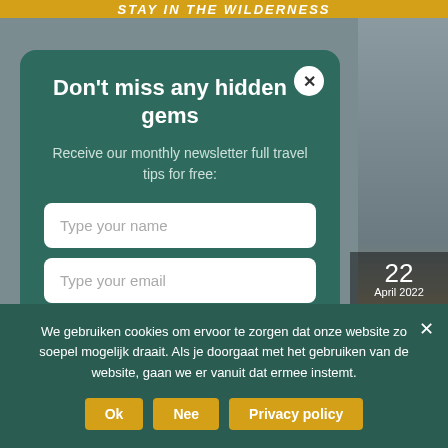STAY IN THE WILDERNESS
[Figure (photo): Background photo of a person outdoors near water/wilderness, with a secondary image showing sandy beach, date overlay showing 22 April 2022]
Don't miss any hidden gems
Receive our monthly newsletter full travel tips for free:
Type your name
Type your email
Yes, please. I'm in!
We gebruiken cookies om ervoor te zorgen dat onze website zo soepel mogelijk draait. Als je doorgaat met het gebruiken van de website, gaan we er vanuit dat ermee instemt.
Ok
Nee
Privacy policy